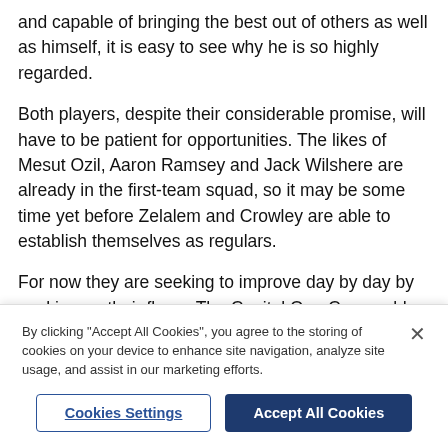and capable of bringing the best out of others as well as himself, it is easy to see why he is so highly regarded.
Both players, despite their considerable promise, will have to be patient for opportunities. The likes of Mesut Ozil, Aaron Ramsey and Jack Wilshere are already in the first-team squad, so it may be some time yet before Zelalem and Crowley are able to establish themselves as regulars.
For now they are seeking to improve day by day by working on their flaws. The Capital One Cup could provide them with an opportunity to demonstrate just
By clicking "Accept All Cookies", you agree to the storing of cookies on your device to enhance site navigation, analyze site usage, and assist in our marketing efforts.